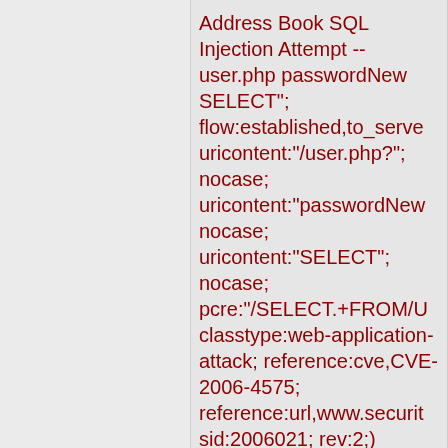Address Book SQL Injection Attempt -- user.php passwordNew SELECT"; flow:established,to_server; uricontent:"/user.php?"; nocase; uricontent:"passwordNew; nocase; uricontent:"SELECT"; nocase; pcre:"/SELECT.+FROM/U classtype:web-application-attack; reference:cve,CVE-2006-4575; reference:url,www.securit sid:2006021; rev:2;)
Added 2007-08-15 01:31:36 UTC